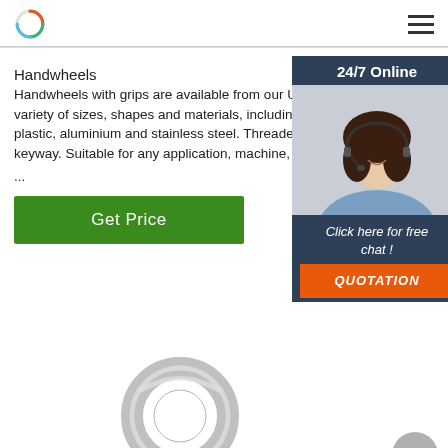Logo and navigation menu
Handwheels
Handwheels with grips are available from our U variety of sizes, shapes and materials, including plastic, aluminium and stainless steel. Threaded keyway. Suitable for any application, machine, e ...
[Figure (screenshot): 24/7 Online chat panel with a customer service representative photo, 'Click here for free chat!' text, and QUOTATION button]
[Figure (photo): Metal eye bolt ring hardware product photo]
[Figure (other): Scroll to top circular grey button with upward chevron]